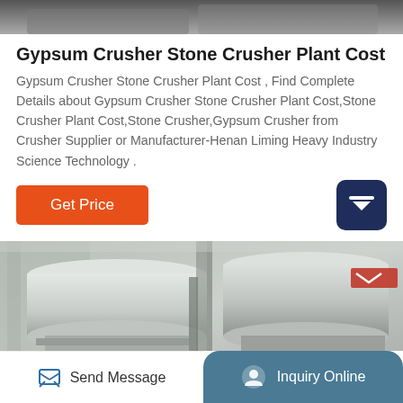[Figure (photo): Top partial photo of industrial crusher machinery in a factory setting]
Gypsum Crusher Stone Crusher Plant Cost
Gypsum Crusher Stone Crusher Plant Cost , Find Complete Details about Gypsum Crusher Stone Crusher Plant Cost,Stone Crusher Plant Cost,Stone Crusher,Gypsum Crusher from Crusher Supplier or Manufacturer-Henan Liming Heavy Industry Science Technology .
[Figure (photo): Photo of large white cylindrical crusher machines in an industrial building with red accents visible]
Send Message   Inquiry Online